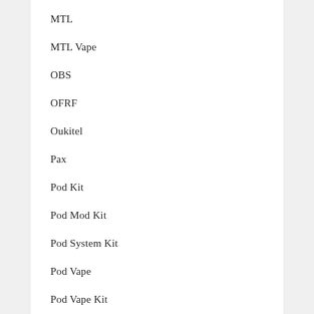MTL
MTL Vape
OBS
OFRF
Oukitel
Pax
Pod Kit
Pod Mod Kit
Pod System Kit
Pod Vape
Pod Vape Kit
Pulse Series